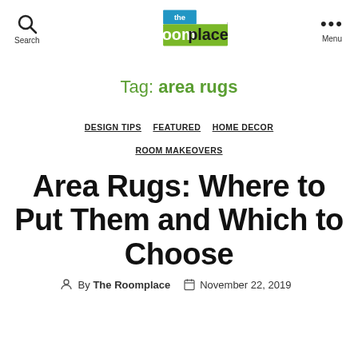Search | the roomplace | Menu
Tag: area rugs
DESIGN TIPS  FEATURED  HOME DECOR  ROOM MAKEOVERS
Area Rugs: Where to Put Them and Which to Choose
By The Roomplace   November 22, 2019